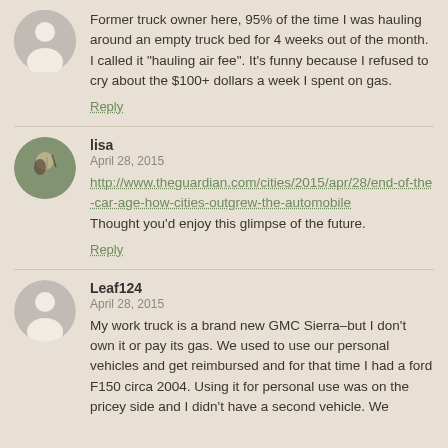Former truck owner here, 95% of the time I was hauling around an empty truck bed for 4 weeks out of the month. I called it "hauling air fee". It's funny because I refused to cry about the $100+ dollars a week I spent on gas.
Reply
lisa
April 28, 2015
http://www.theguardian.com/cities/2015/apr/28/end-of-the-car-age-how-cities-outgrew-the-automobile Thought you'd enjoy this glimpse of the future.
Reply
Leaf124
April 28, 2015
My work truck is a brand new GMC Sierra–but I don't own it or pay its gas. We used to use our personal vehicles and get reimbursed and for that time I had a ford F150 circa 2004. Using it for personal use was on the pricey side and I didn't have a second vehicle. We